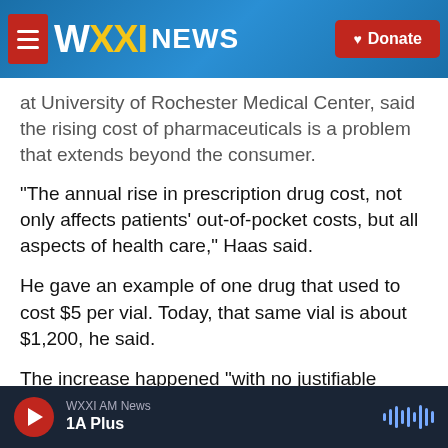WXXI NEWS | Donate
at University of Rochester Medical Center, said the rising cost of pharmaceuticals is a problem that extends beyond the consumer.
“The annual rise in prescription drug cost, not only affects patients’ out-of-pocket costs, but all aspects of health care,” Haas said.
He gave an example of one drug that used to cost $5 per vial. Today, that same vial is about $1,200, he said.
The increase happened “with no justifiable reason,”
WXXI AM News | 1A Plus